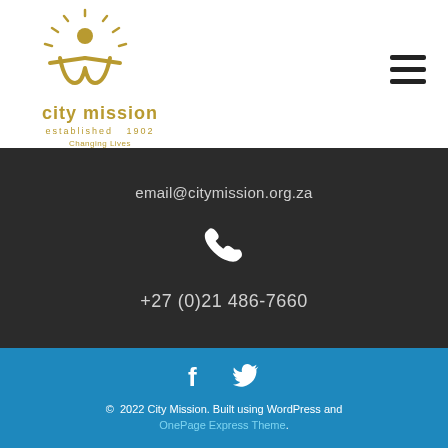[Figure (logo): City Mission logo with stylized figure and sun rays, text reading 'city mission', 'established 1902', 'Changing Lives Transforming Generations']
email@citymission.org.za
[Figure (illustration): White phone handset icon on dark background]
+27 (0)21 486-7660
[Figure (illustration): White Facebook and Twitter social media icons]
© 2022 City Mission. Built using WordPress and OnePage Express Theme.